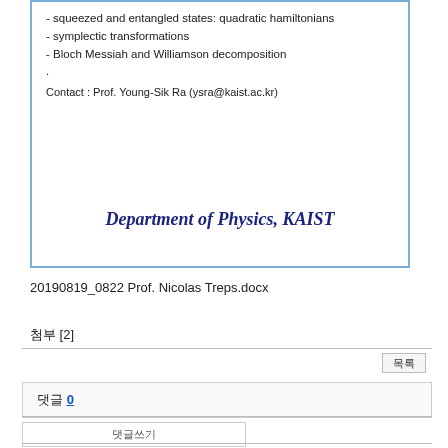- squeezed and entangled states: quadratic hamiltonians
- symplectic transformations
- Bloch Messiah and Williamson decomposition
.
Contact : Prof. Young-Sik Ra (ysra@kaist.ac.kr)
Department of Physics, KAIST
20190819_0822 Prof. Nicolas Treps.docx
첨부 [2]
목록
댓글 0
댓글쓰기